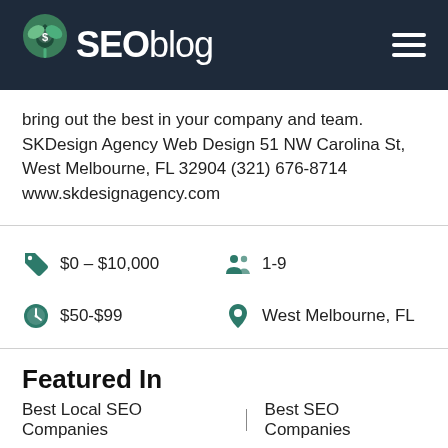SEOblog
bring out the best in your company and team. SKDesign Agency Web Design 51 NW Carolina St, West Melbourne, FL 32904 (321) 676-8714 www.skdesignagency.com
$0 – $10,000  |  1-9  |  $50-$99  |  West Melbourne, FL
Featured In
Best Local SEO Companies
Best SEO Companies